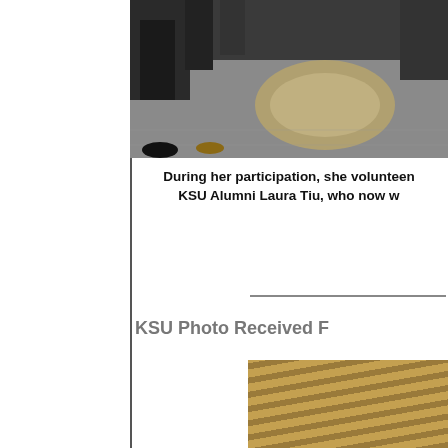[Figure (photo): Partial view of people standing on grey carpet, showing legs and feet from a crowd scene, cropped at top of page]
During her participation, she volunteen KSU Alumni Laura Tiu, who now w
KSU Photo Received F
[Figure (photo): Close-up of wooden slatted surface with diagonal striping pattern in tan and brown tones]